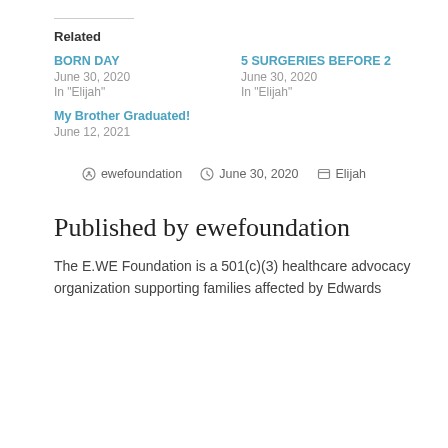Related
BORN DAY
June 30, 2020
In "Elijah"
5 SURGERIES BEFORE 2
June 30, 2020
In "Elijah"
My Brother Graduated!
June 12, 2021
ewefoundation   June 30, 2020   Elijah
Published by ewefoundation
The E.WE Foundation is a 501(c)(3) healthcare advocacy organization supporting families affected by Edwards